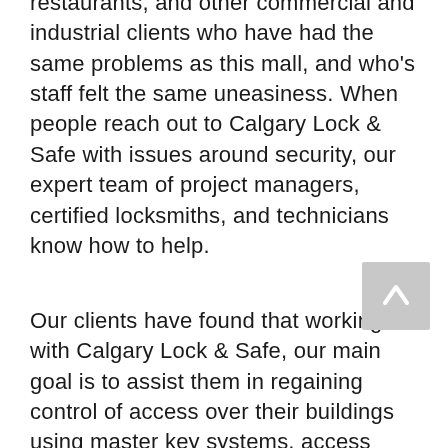restaurants, and other commercial and industrial clients who have had the same problems as this mall, and who's staff felt the same uneasiness. When people reach out to Calgary Lock & Safe with issues around security, our expert team of project managers, certified locksmiths, and technicians know how to help.
Our clients have found that working with Calgary Lock & Safe, our main goal is to assist them in regaining control of access over their buildings using master key systems, access control systems, or security bolstering tactics to minimize or even eliminate the vulnerability they were experiencing. We develop